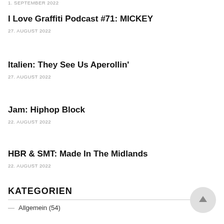1. SEPTEMBER 2022
I Love Graffiti Podcast #71: MICKEY
27. AUGUST 2022
Italien: They See Us Aperollin'
27. AUGUST 2022
Jam: Hiphop Block
22. AUGUST 2022
HBR & SMT: Made In The Midlands
22. AUGUST 2022
KATEGORIEN
Allgemein (54)